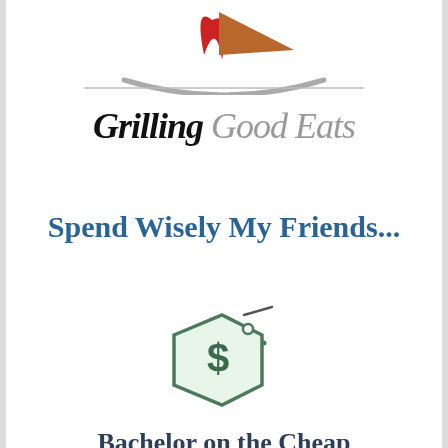[Figure (logo): Grilling Good Eats logo: stylized grill with red flame and brown triangle shape on top, gray arc/smile shape below, with a horizontal divider line underneath]
Grilling Good Eats
Spend Wisely My Friends...
[Figure (logo): Bachelor on the Cheap logo: a price tag icon with dollar sign inside, string on top right, in green/teal outline]
Bachelor on the Cheap